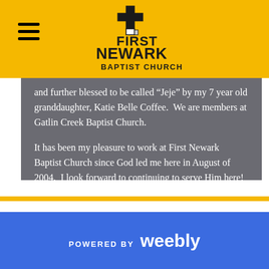[Figure (logo): First Newark Baptist Church logo with cross icon and bold text]
and further blessed to be called “Jeje” by my 7 year old granddaughter, Katie Belle Coffee.  We are members at Gatlin Creek Baptist Church.

It has been my pleasure to work at First Newark Baptist Church since God led me here in August of 2004.  I look forward to continuing to serve Him here!
POWERED BY weebly